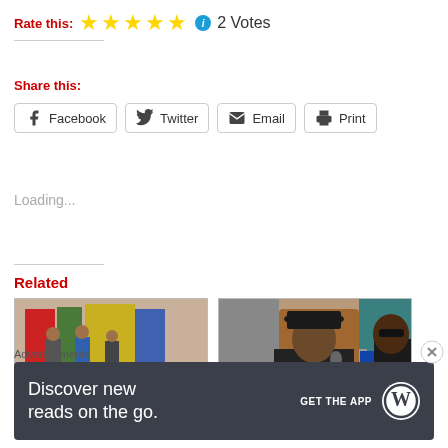Rate this: ★★★★★ ℹ️ 2 Votes
Share this:
Facebook
Twitter
Email
Print
Loading...
Related
[Figure (photo): People standing on a stage with flags and a podium, appears to be a ceremony or event]
[Figure (photo): Man wearing a dark hat and suit sitting at a table with microphones and a small flag]
Advertisements
[Figure (other): WordPress advertisement banner: Discover new reads on the go. GET THE APP with WordPress logo]